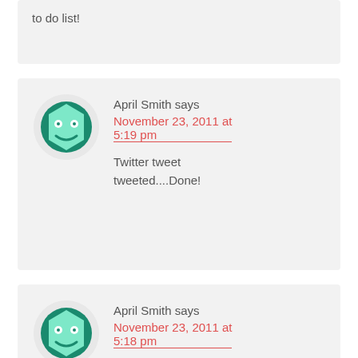to do list!
April Smith says
November 23, 2011 at 5:19 pm
Twitter tweet tweeted....Done!
April Smith says
November 23, 2011 at 5:18 pm